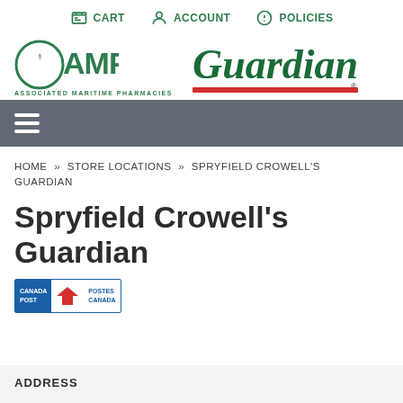CART  ACCOUNT  POLICIES
[Figure (logo): AMP Associated Maritime Pharmacies and Guardian pharmacy logos side by side]
[Figure (infographic): Hamburger menu icon on grey navigation bar]
HOME » STORE LOCATIONS » SPRYFIELD CROWELL'S GUARDIAN
Spryfield Crowell's Guardian
[Figure (logo): Canada Post / Postes Canada logo badge]
ADDRESS